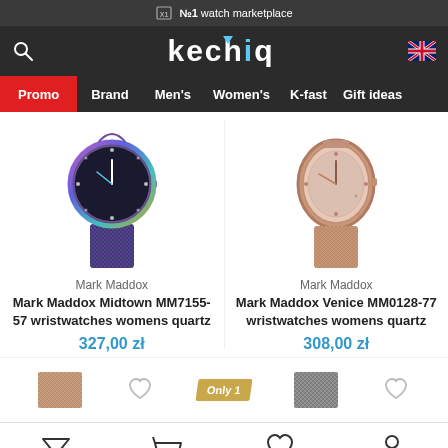№1 watch marketplace
[Figure (logo): Kechiq watch marketplace logo with UK flag]
Promo | Brand | Men's | Women's | K-fast | Gift ideas
[Figure (photo): Mark Maddox Midtown MM7155-57 wristwatch womens quartz - dark face with colorful mesh strap]
Mark Maddox
Mark Maddox Midtown MM7155-57 wristwatches womens quartz
327,00 zł
[Figure (photo): Mark Maddox Venice MM0128-77 wristwatch womens quartz - rose gold face with mesh strap]
Mark Maddox
Mark Maddox Venice MM0128-77 wristwatches womens quartz
308,00 zł
[Figure (photo): Bottom row: rose gold mesh strap thumbnail, heart icon, Only 1 badge, grey mesh strap thumbnail, heart icon]